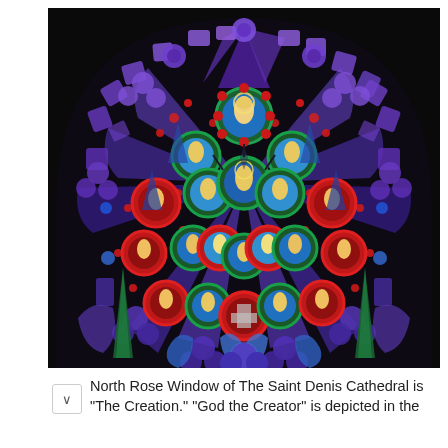[Figure (photo): Photograph of the North Rose Window of The Saint Denis Cathedral, showing an intricate circular stained glass window with colorful medallions depicting religious scenes on a dark background. The window features blues, purples, reds, and greens in a radiating pattern.]
North Rose Window of The Saint Denis Cathedral is "The Creation." "God the Creator" is depicted in the